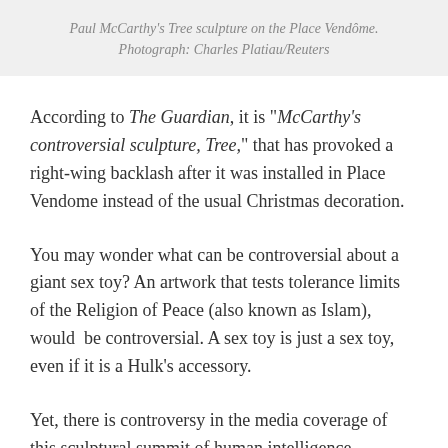Paul McCarthy's Tree sculpture on the Place Vendôme. Photograph: Charles Platiau/Reuters
According to The Guardian, it is "McCarthy's controversial sculpture, Tree," that has provoked a right-wing backlash after it was installed in Place Vendome instead of the usual Christmas decoration.
You may wonder what can be controversial about a giant sex toy? An artwork that tests tolerance limits of the Religion of Peace (also known as Islam), would be controversial. A sex toy is just a sex toy, even if it is a Hulk's accessory.
Yet, there is controversy in the media coverage of this sculptural summit of human intelligence. Jonathan Jones,